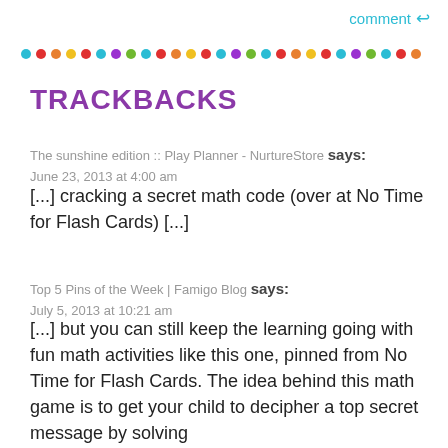comment ↩
[Figure (infographic): A row of colorful dots in repeating colors: blue, red, orange, yellow, red, blue, purple, green, forming a decorative divider]
TRACKBACKS
The sunshine edition :: Play Planner - NurtureStore says:
June 23, 2013 at 4:00 am
[...] cracking a secret math code (over at No Time for Flash Cards) [...]
Top 5 Pins of the Week | Famigo Blog says:
July 5, 2013 at 10:21 am
[...] but you can still keep the learning going with fun math activities like this one, pinned from No Time for Flash Cards. The idea behind this math game is to get your child to decipher a top secret message by solving [...]